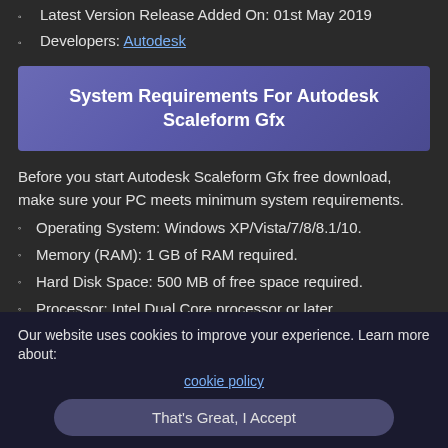Latest Version Release Added On: 01st May 2019
Developers: Autodesk
System Requirements For Autodesk Scaleform Gfx
Before you start Autodesk Scaleform Gfx free download, make sure your PC meets minimum system requirements.
Operating System: Windows XP/Vista/7/8/8.1/10.
Memory (RAM): 1 GB of RAM required.
Hard Disk Space: 500 MB of free space required.
Processor: Intel Dual Core processor or later.
Our website uses cookies to improve your experience. Learn more about: cookie policy
That's Great, I Accept